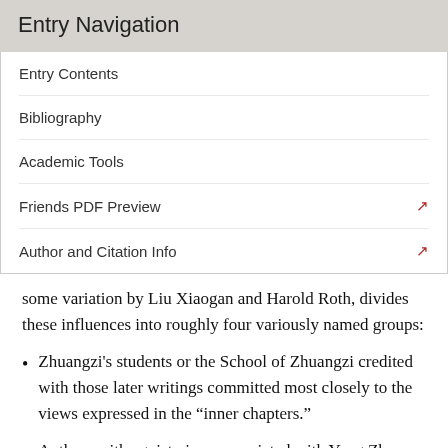Entry Navigation
Entry Contents
Bibliography
Academic Tools
Friends PDF Preview
Author and Citation Info
some variation by Liu Xiaogan and Harold Roth, divides these influences into roughly four variously named groups:
Zhuangzi’s students or the School of Zhuangzi credited with those later writings committed most closely to the views expressed in the “inner chapters.”
Authors with egoist views associated with Yang Zhu (4th century BC). The Mencius presented Yang’s thought as a version of an ethical egoism that rejected conventional altruistic principles